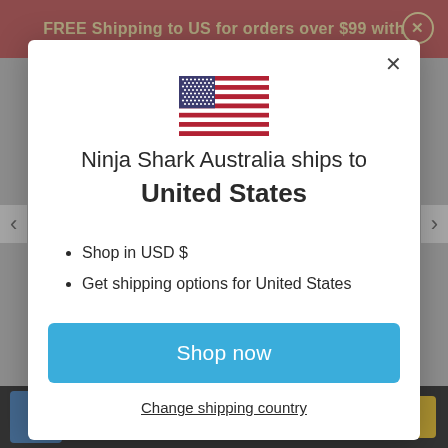FREE Shipping to US for orders over $99 with
[Figure (illustration): US flag icon]
Ninja Shark Australia ships to United States
Shop in USD $
Get shipping options for United States
Shop now
Change shipping country